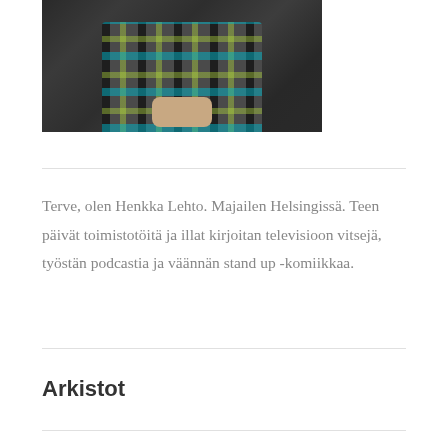[Figure (photo): A person wearing a colorful plaid/checkered shirt in blue, green, black and white, photographed from the torso down against a dark background. Their hands are clasped in front of them.]
Terve, olen Henkka Lehto. Majailen Helsingissä. Teen päivät toimistotöitä ja illat kirjoitan televisioon vitsejä, työstän podcastia ja väännän stand up -komiikkaa.
Arkistot